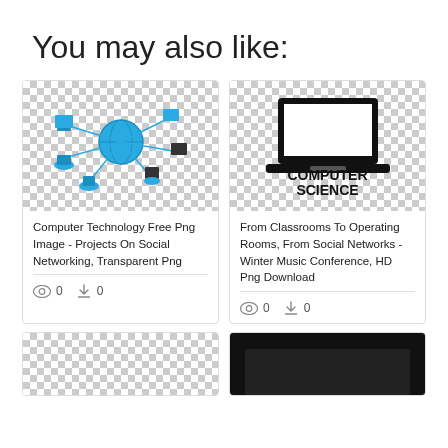You may also like:
[Figure (illustration): Network/social computing illustration showing a globe with connected computers, in teal/blue colors on checkerboard transparent background]
Computer Technology Free Png Image - Projects On Social Networking, Transparent Png
0  0
[Figure (illustration): Laptop computer silhouette in black with text 'COMPUTER SCIENCE' on checkerboard transparent background]
From Classrooms To Operating Rooms, From Social Networks - Winter Music Conference, HD Png Download
0  0
[Figure (illustration): Partial card image with checkerboard background, partially visible]
[Figure (illustration): Partial card image with dark/black background, partially visible]